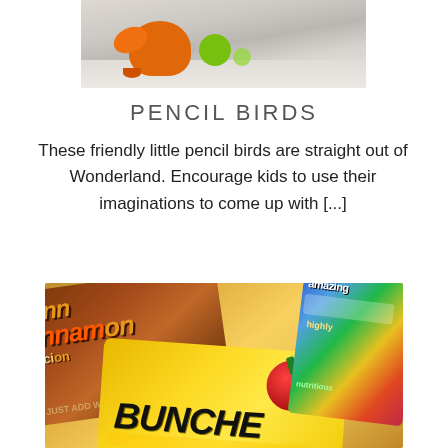[Figure (photo): Photo of colorful toy pencil birds (orange bird shape and green ball) on a marble floor surface, partially cropped at top]
PENCIL BIRDS
These friendly little pencil birds are straight out of Wonderland. Encourage kids to use their imaginations to come up with [...]
[Figure (photo): Photo of colorful cereal boxes in a collage/fan arrangement including Cinnamon Toast Crunch and Honey Bunches of Oats boxes with bright colorful graphics]